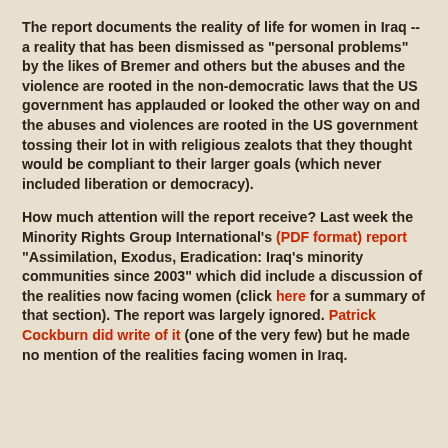The report documents the reality of life for women in Iraq -- a reality that has been dismissed as "personal problems" by the likes of Bremer and others but the abuses and the violence are rooted in the non-democratic laws that the US government has applauded or looked the other way on and the abuses and violences are rooted in the US government tossing their lot in with religious zealots that they thought would be compliant to their larger goals (which never included liberation or democracy).
How much attention will the report receive? Last week the Minority Rights Group International's (PDF format) report "Assimilation, Exodus, Eradication: Iraq's minority communities since 2003" which did include a discussion of the realities now facing women (click here for a summary of that section). The report was largely ignored. Patrick Cockburn did write of it (one of the very few) but he made no mention of the realities facing women in Iraq.